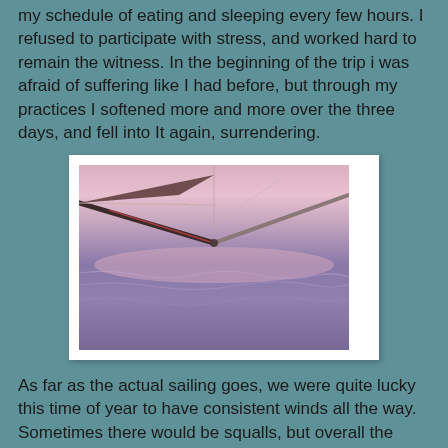my schedule of eating and sleeping every few hours. I refused to participate with stress, and worked hard to remain the witness. In the beginning of the trip i was afraid of suffering like I had before, but through my practices I softened more and more over the three days, and fell into It again, surrendering.
[Figure (photo): View from the deck of a sailboat at sea during sunset/dusk. Two sail booms extend diagonally from the center foreground. The sky is pink-purple and the ocean reflects similar hues with small waves visible.]
As far as the actual sailing goes, we were quite lucky this time of year to have consistent winds all the way. Sometimes there would be squalls, but overall the weather was good. We even managed to cook a pizza one night while underway. So, as I reflect on the passage, I think of the